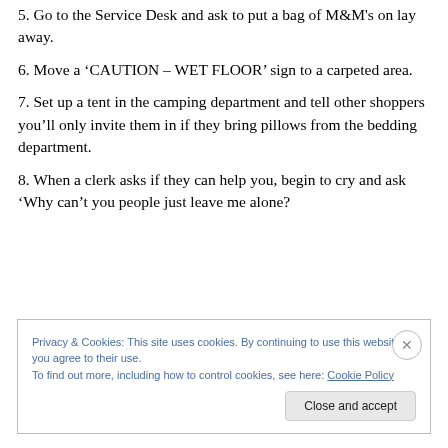5. Go to the Service Desk and ask to put a bag of M&M's on lay away.
6. Move a ‘CAUTION – WET FLOOR’ sign to a carpeted area.
7. Set up a tent in the camping department and tell other shoppers you’ll only invite them in if they bring pillows from the bedding department.
8. When a clerk asks if they can help you, begin to cry and ask ‘Why can’t you people just leave me alone?
Privacy & Cookies: This site uses cookies. By continuing to use this website, you agree to their use.
To find out more, including how to control cookies, see here: Cookie Policy